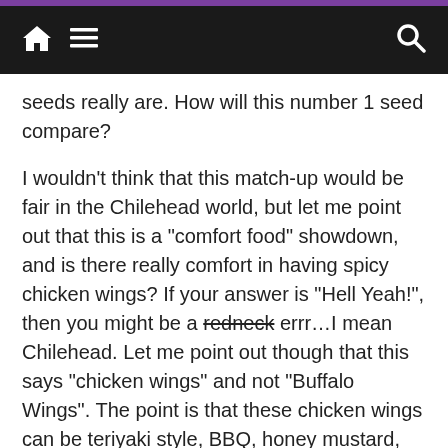Navigation bar with home, menu, and search icons
seeds really are. How will this number 1 seed compare?
I wouldn’t think that this match-up would be fair in the Chilehead world, but let me point out that this is a “comfort food” showdown, and is there really comfort in having spicy chicken wings? If your answer is “Hell Yeah!”, then you might be a redneck errr…I mean Chilehead. Let me point out though that this says “chicken wings” and not “Buffalo Wings”. The point is that these chicken wings can be teriyaki style, BBQ, honey mustard, jerk, garlic, etc, and not just Buffalo. Whilst the long shot, chicken salad can be scooped onto a plate of greens, placed in a sammich like the above pictured croissant or perhaps served in a hollowed out cantaloupe with a drizzle of balsamic vinegar. It could also be mixed with nuts, seeds, fruits or a family secret addition that would make a cafeteria lady cry. Whatever